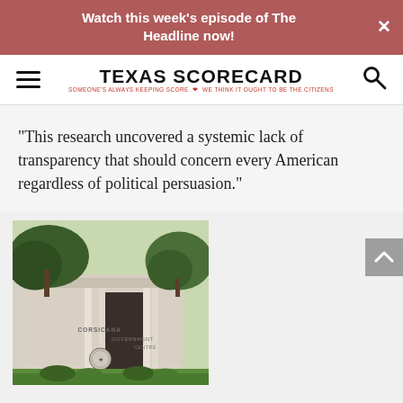Watch this week's episode of The Headline now!
[Figure (logo): Texas Scorecard logo with hamburger menu icon on left and search icon on right. Tagline: SOMEONE'S ALWAYS KEEPING SCORE - WE THINK IT OUGHT TO BE THE CITIZENS]
“This research uncovered a systemic lack of transparency that should concern every American regardless of political persuasion.”
[Figure (photo): Photo of the Corsicana Government Centre building, a modern white/beige structure with a Texas State seal, surrounded by trees and landscaping.]